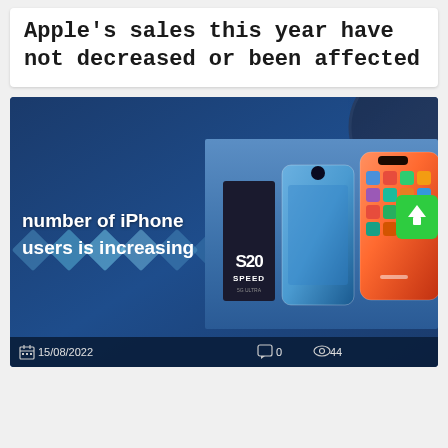Apple's sales this year have not decreased or been affected
[Figure (photo): Promotional image on dark blue background showing text 'number of iPhone users is increasing' with diamond pattern, and photos of Samsung S20 and iPhone devices side by side. Bottom bar shows date 15/08/2022, 0 comments, 44 views. Green upload button visible on right side.]